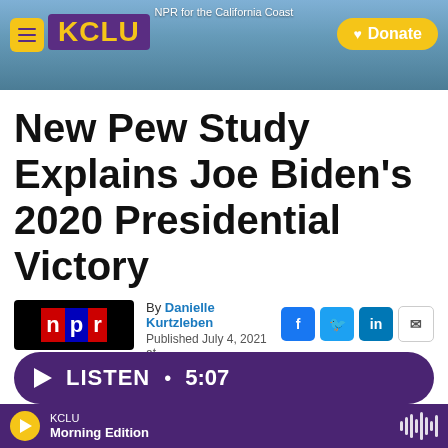[Figure (screenshot): KCLU radio station website header banner with coastal California background photo, hamburger menu, KCLU logo in purple, and yellow Donate button. Text reads: NPR for the California Coast]
New Pew Study Explains Joe Biden's 2020 Presidential Victory
By Danielle Kurtzleben
Published July 4, 2021 at 4:58 AM PDT
[Figure (logo): NPR logo — n in red, p in blue, r in red on black background]
LISTEN • 5:07
KCLU Morning Edition